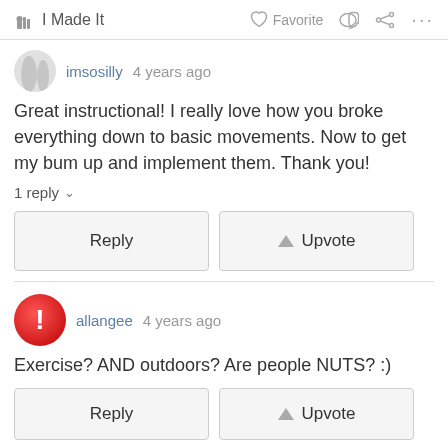I Made It  Favorite  ...
imsosilly 4 years ago
Great instructional! I really love how you broke everything down to basic movements. Now to get my bum up and implement them. Thank you!
1 reply
Reply  Upvote
allangee 4 years ago
Exercise? AND outdoors? Are people NUTS? :)
Reply  Upvote